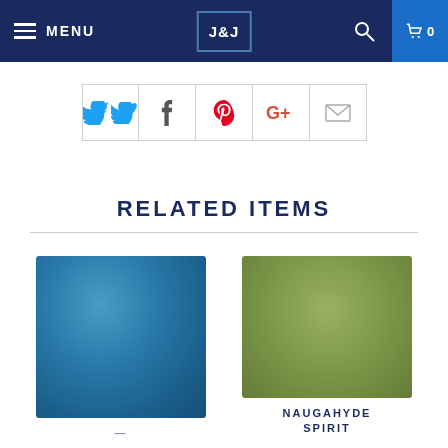MENU | J&J | 0
[Figure (screenshot): Social sharing buttons row: Twitter (blue bird), Facebook (f), Pinterest (P), Google+ (G+), Email (envelope)]
RELATED ITEMS
[Figure (photo): Blue color swatch product image]
[Figure (photo): Olive/sage green color swatch product image]
NAUGAHYDE SPIRIT